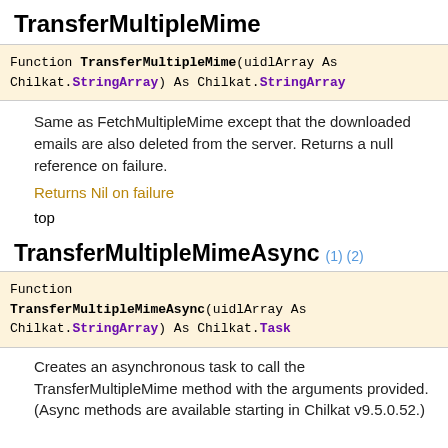TransferMultipleMime
Function TransferMultipleMime(uidlArray As Chilkat.StringArray) As Chilkat.StringArray
Same as FetchMultipleMime except that the downloaded emails are also deleted from the server. Returns a null reference on failure.
Returns Nil on failure
top
TransferMultipleMimeAsync (1) (2)
Function TransferMultipleMimeAsync(uidlArray As Chilkat.StringArray) As Chilkat.Task
Creates an asynchronous task to call the TransferMultipleMime method with the arguments provided. (Async methods are available starting in Chilkat v9.5.0.52.)